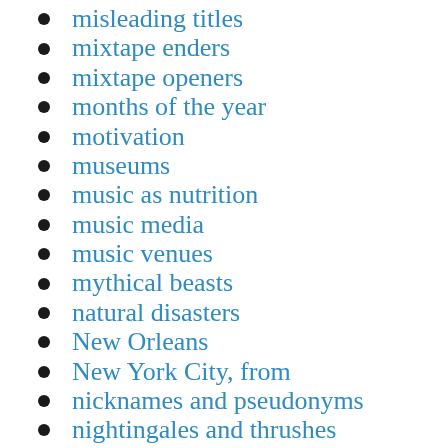misleading titles
mixtape enders
mixtape openers
months of the year
motivation
museums
music as nutrition
music media
music venues
mythical beasts
natural disasters
New Orleans
New York City, from
nicknames and pseudonyms
nightingales and thrushes
non sequiturs
non-alcoholic drinks